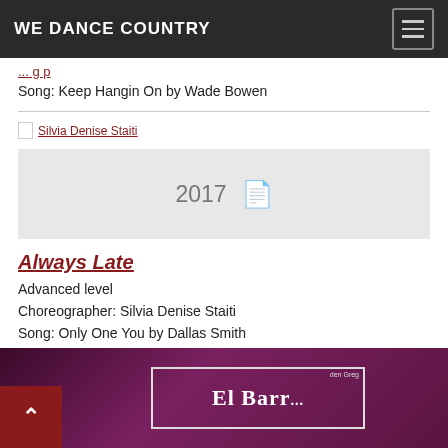WE DANCE COUNTRY
Song: Keep Hangin On by Wade Bowen
Silvia Denise Staiti
[Figure (other): Card placeholder showing year 2017 with file icon]
Always Late
Advanced level
Choreographer: Silvia Denise Staiti
Song: Only One You by Dallas Smith
[Figure (photo): Video thumbnail showing El Barr text on stage with dark purple background]